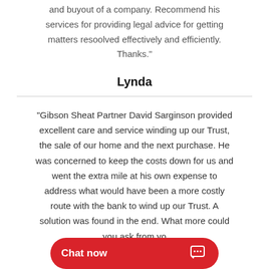and buyout of a company. Recommend his services for providing legal advice for getting matters resoolved effectively and efficiently. Thanks."
Lynda
"Gibson Sheat Partner David Sarginson provided excellent care and service winding up our Trust, the sale of our home and the next purchase. He was concerned to keep the costs down for us and went the extra mile at his own expense to address what would have been a more costly route with the bank to wind up our Trust. A solution was found in the end. What more could you ask from yo...
Chat now